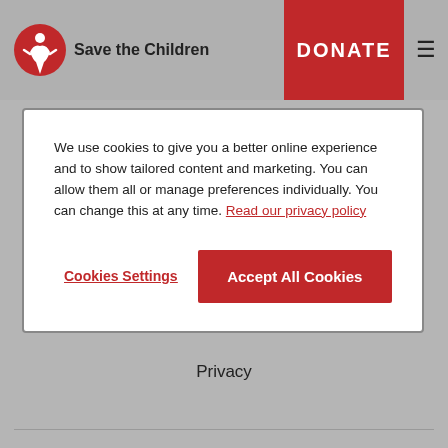[Figure (logo): Save the Children logo with red figure icon and bold text 'Save the Children']
We use cookies to give you a better online experience and to show tailored content and marketing. You can allow them all or manage preferences individually. You can change this at any time. Read our privacy policy
Cookies Settings
Accept All Cookies
Terms & Conditions
Privacy
Accessibility
Modern Slavery Statement
Cookie Preferences